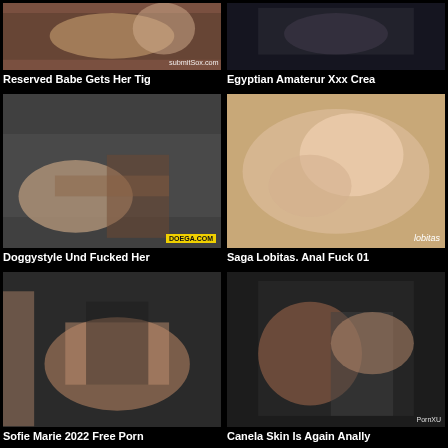[Figure (photo): Video thumbnail 1 - Reserved Babe Gets Her Tig]
Reserved Babe Gets Her Tig
[Figure (photo): Video thumbnail 2 - Egyptian Amaterur Xxx Crea]
Egyptian Amaterur Xxx Crea
[Figure (photo): Video thumbnail 3 - Doggystyle Und Fucked Her, DOEGA.COM watermark]
Doggystyle Und Fucked Her
[Figure (photo): Video thumbnail 4 - Saga Lobitas. Anal Fuck 01, Lobitas watermark]
Saga Lobitas. Anal Fuck 01
[Figure (photo): Video thumbnail 5 - Sofie Marie 2022 Free Porn]
Sofie Marie 2022 Free Porn
[Figure (photo): Video thumbnail 6 - Canela Skin Is Again Anally]
Canela Skin Is Again Anally